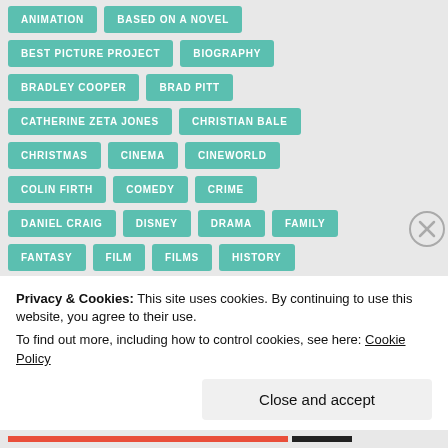ANIMATION
BASED ON A NOVEL
BEST PICTURE PROJECT
BIOGRAPHY
BRADLEY COOPER
BRAD PITT
CATHERINE ZETA JONES
CHRISTIAN BALE
CHRISTMAS
CINEMA
CINEWORLD
COLIN FIRTH
COMEDY
CRIME
DANIEL CRAIG
DISNEY
DRAMA
FAMILY
FANTASY
FILM
FILMS
HISTORY
HORROR
JULIA ROBERTS
KATE WINSLET
Privacy & Cookies: This site uses cookies. By continuing to use this website, you agree to their use.
To find out more, including how to control cookies, see here: Cookie Policy
Close and accept